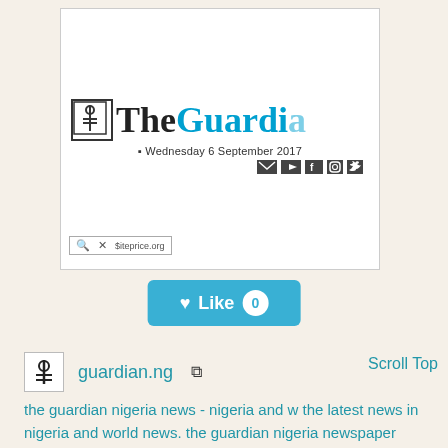[Figure (screenshot): Screenshot of The Guardian Nigeria website header showing logo 'TheGuardian', date 'Wednesday 6 September 2017', social media icons, and a search bar with siteprice.org watermark]
[Figure (illustration): Blue 'Like 0' button with heart icon]
guardian.ng
Scroll Top
the guardian nigeria news - nigeria and w the latest news in nigeria and world news. the guardian nigeria newspaper brings you the latest headlines, opinions, political news, business reports and international news. — the guardian nigeria news – nigeria and world news
the latest news in nigeria and world news. the guardian